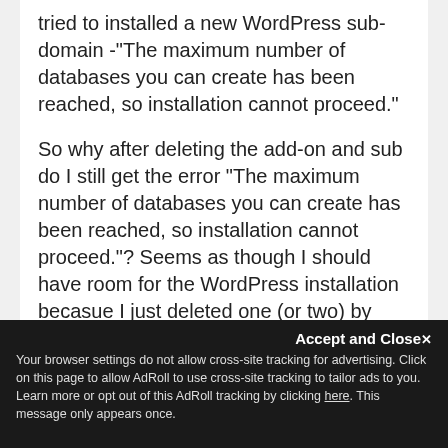tried to installed a new WordPress sub-domain -"The maximum number of databases you can create has been reached, so installation cannot proceed."
So why after deleting the add-on and sub do I still get the error "The maximum number of databases you can create has been reached, so installation cannot proceed."? Seems as though I should have room for the WordPress installation becasue I just deleted one (or two) by deleting the domains.
Accept and Close
Your browser settings do not allow cross-site tracking for advertising. Click on this page to allow AdRoll to use cross-site tracking to tailor ads to you. Learn more or opt out of this AdRoll tracking by clicking here. This message only appears once.